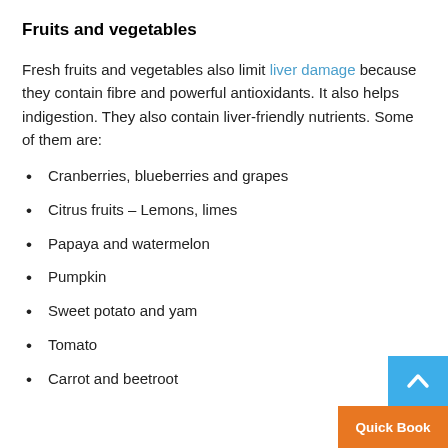Fruits and vegetables
Fresh fruits and vegetables also limit liver damage because they contain fibre and powerful antioxidants. It also helps indigestion. They also contain liver-friendly nutrients. Some of them are:
Cranberries, blueberries and grapes
Citrus fruits – Lemons, limes
Papaya and watermelon
Pumpkin
Sweet potato and yam
Tomato
Carrot and beetroot